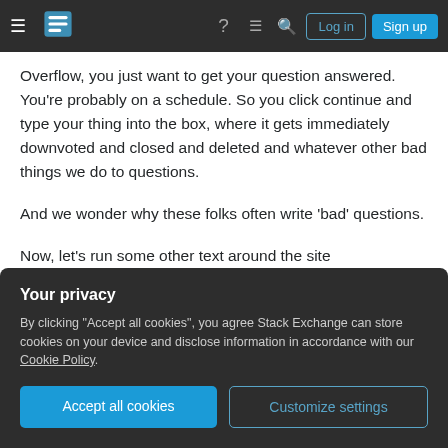Stack Exchange navigation bar with hamburger menu, logo, help, chat, search icons, Log in and Sign up buttons
Overflow, you just want to get your question answered. You're probably on a schedule. So you click continue and type your thing into the box, where it gets immediately downvoted and closed and deleted and whatever other bad things we do to questions.
And we wonder why these folks often write 'bad' questions.
Now, let's run some other text around the site
Your privacy
By clicking "Accept all cookies", you agree Stack Exchange can store cookies on your device and disclose information in accordance with our Cookie Policy.
Accept all cookies
Customize settings